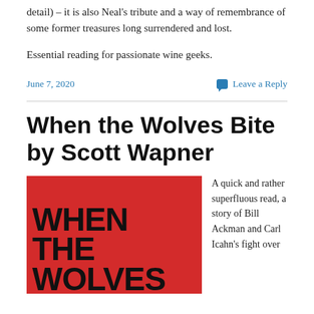detail) – it is also Neal's tribute and a way of remembrance of some former treasures long surrendered and lost.
Essential reading for passionate wine geeks.
June 7, 2020
Leave a Reply
When the Wolves Bite by Scott Wapner
[Figure (photo): Book cover for 'When the Wolves' on a red background with large bold black text reading 'WHEN THE WOLVES']
A quick and rather superfluous read, a story of Bill Ackman and Carl Icahn's fight over